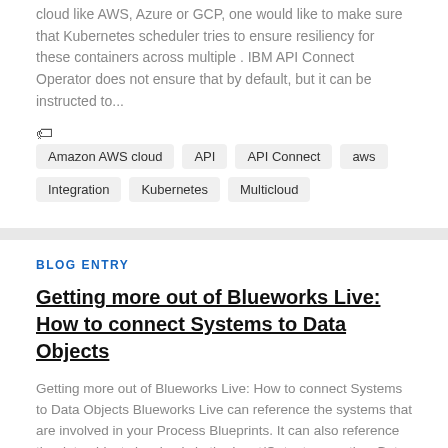cloud like AWS, Azure or GCP, one would like to make sure that Kubernetes scheduler tries to ensure resiliency for these containers across multiple . IBM API Connect Operator does not ensure that by default, but it can be instructed to...
Tags: Amazon AWS cloud, API, API Connect, aws, Integration, Kubernetes, Multicloud
BLOG ENTRY
Getting more out of Blueworks Live: How to connect Systems to Data Objects
Getting more out of Blueworks Live: How to connect Systems to Data Objects Blueworks Live can reference the systems that are involved in your Process Blueprints. It can also reference the data objects involved via the Input/Output properties. But, did you know that it is possible to "connect"...
Tags: API, Blueworks Live
BLOG ENTRY